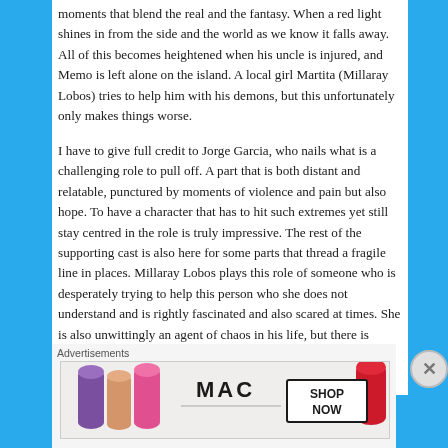moments that blend the real and the fantasy. When a red light shines in from the side and the world as we know it falls away. All of this becomes heightened when his uncle is injured, and Memo is left alone on the island. A local girl Martita (Millaray Lobos) tries to help him with his demons, but this unfortunately only makes things worse.
I have to give full credit to Jorge Garcia, who nails what is a challenging role to pull off. A part that is both distant and relatable, punctured by moments of violence and pain but also hope. To have a character that has to hit such extremes yet still stay centred in the role is truly impressive. The rest of the supporting cast is also here for some parts that thread a fragile line in places. Millaray Lobos plays this role of someone who is desperately trying to help this person who she does not understand and is rightly fascinated and also scared at times. She is also unwittingly an agent of chaos in his life, but there is
Advertisements
[Figure (photo): MAC Cosmetics advertisement showing lipsticks in purple, pink, and red shades with the MAC logo and 'SHOP NOW' button]